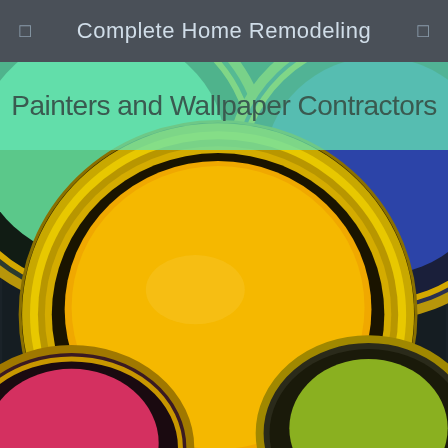Complete Home Remodeling
Painters and Wallpaper Contractors
[Figure (photo): Close-up of several open paint cans viewed from above, showing yellow, green, blue, and pink paints, with metallic gold/silver rims, arranged on a dark background.]